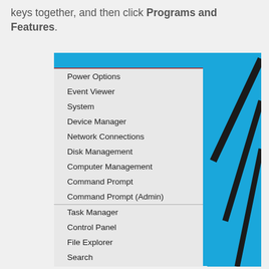keys together, and then click Programs and Features.
[Figure (screenshot): Windows 8/10 right-click Start menu (Power User menu) showing items: Programs and Features (highlighted with red border), Power Options, Event Viewer, System, Device Manager, Network Connections, Disk Management, Computer Management, Command Prompt, Command Prompt (Admin), Task Manager, Control Panel, File Explorer, Search, Run, Shut down or sign out (with submenu arrow). Blue Windows desktop visible behind menu on right side with black diagonal lines.]